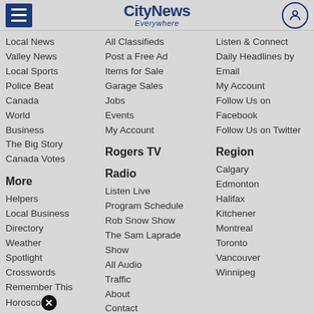CityNews Everywhere
Local News
Valley News
Local Sports
Police Beat
Canada
World
Business
The Big Story
Canada Votes
More
Helpers
Local Business
Directory
Weather
Spotlight
Crosswords
Remember This
Horoscope
Local Gas Prices
What's Up Wednesday
Adopt Me
A Minute Si…
All Classifieds
Post a Free Ad
Items for Sale
Garage Sales
Jobs
Events
My Account
Rogers TV
Radio
Listen Live
Program Schedule
Rob Snow Show
The Sam Laprade Show
All Audio
Traffic
About
Contact
Advertise
Radio Newsletters
Contests
Extreme Weather
Listen & Connect
Daily Headlines by Email
My Account
Follow Us on Facebook
Follow Us on Twitter
Region
Calgary
Edmonton
Halifax
Kitchener
Montreal
Toronto
Vancouver
Winnipeg